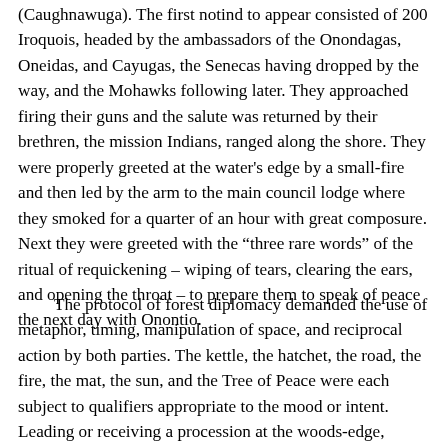(Caughnawuga). The first notind to appear consisted of 200 Iroquois, headed by the ambassadors of the Onondagas, Oneidas, and Cayugas, the Senecas having dropped by the way, and the Mohawks following later. They approached firing their guns and the salute was returned by their brethren, the mission Indians, ranged along the shore. They were properly greeted at the water's edge by a small-fire and then led by the arm to the main council lodge where they smoked for a quarter of an hour with great composure. Next they were greeted with the “three rare words” of the ritual of requickening – wiping of tears, clearing the ears, and opening the throat – to prepare them to speak of peace the next day with Onontio.
The protocol of forest diplomacy demanded the use of metaphor, timing, manipulation of space, and reciprocal action by both parties. The kettle, the hatchet, the road, the fire, the mat, the sun, and the Tree of Peace were each subject to qualifiers appropriate to the mood or intent. Leading or receiving a procession at the woods-edge, taking guests by the arm to the